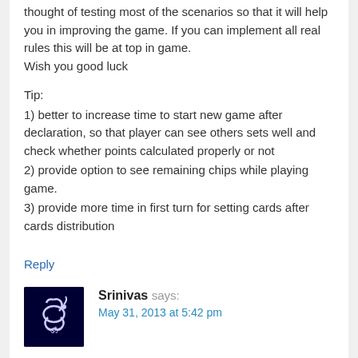thought of testing most of the scenarios so that it will help you in improving the game. If you can implement all real rules this will be at top in game.
Wish you good luck
Tip:
1) better to increase time to start new game after declaration, so that player can see others sets well and check whether points calculated properly or not
2) provide option to see remaining chips while playing game.
3) provide more time in first turn for setting cards after cards distribution
Reply
Srinivas says:
May 31, 2013 at 5:42 pm
One more issue in rule engine